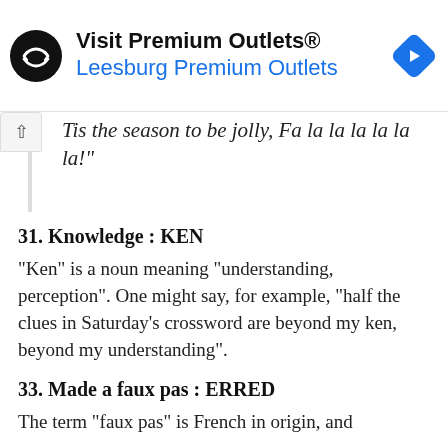[Figure (other): Advertisement banner for Visit Premium Outlets® – Leesburg Premium Outlets, with a circular black logo with arrows and a blue diamond navigation icon on the right.]
“Tis the season to be jolly, Fa la la la la la la!”
31. Knowledge : KEN
“Ken” is a noun meaning “understanding, perception”. One might say, for example, “half the clues in Saturday’s crossword are beyond my ken, beyond my understanding”.
33. Made a faux pas : ERRED
The term “faux pas” is French in origin, and